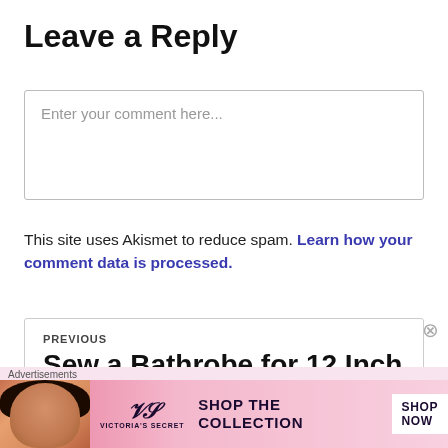Leave a Reply
Enter your comment here...
This site uses Akismet to reduce spam. Learn how your comment data is processed.
PREVIOUS
Sew a Bathrobe for 12 Inch Fashion Dolls Like Vintage
Advertisements
[Figure (other): Victoria's Secret advertisement banner with model, VS logo, 'SHOP THE COLLECTION' text and 'SHOP NOW' button]